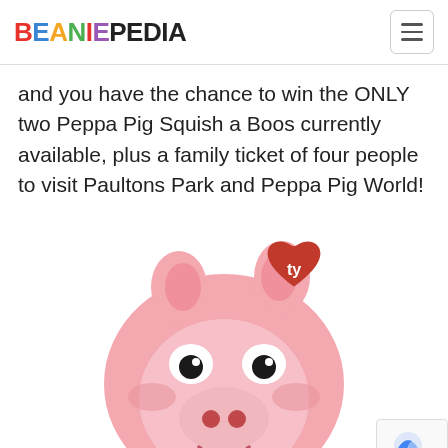BEANIEPEDIA
and you have the chance to win the ONLY two Peppa Pig Squish a Boos currently available, plus a family ticket of four people to visit Paultons Park and Peppa Pig World!
[Figure (photo): A Peppa Pig Squish-a-Boo plush toy by Ty, showing the round pink pig face with a red Ty heart-shaped tag, black eyes, red nose, rosy cheeks, and a smiling face, wearing a red outfit at the bottom.]